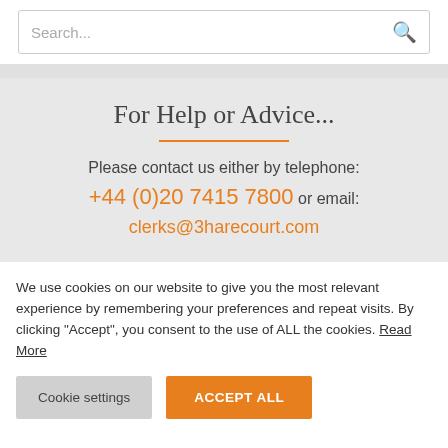Search...
For Help or Advice...
Please contact us either by telephone: +44 (0)20 7415 7800 or email: clerks@3harecourt.com
We use cookies on our website to give you the most relevant experience by remembering your preferences and repeat visits. By clicking "Accept", you consent to the use of ALL the cookies. Read More
Cookie settings | ACCEPT ALL